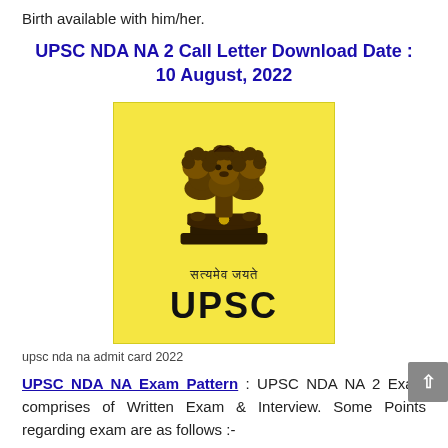Birth available with him/her.
UPSC NDA NA 2 Call Letter Download Date : 10 August, 2022
[Figure (logo): UPSC logo on yellow background with Ashoka Pillar emblem and text 'सत्यमेव जयते' above 'UPSC']
upsc nda na admit card 2022
UPSC NDA NA Exam Pattern : UPSC NDA NA 2 Exam comprises of Written Exam & Interview. Some Points regarding exam are as follows :-
1. There will be 2 Papers in Exam. Time